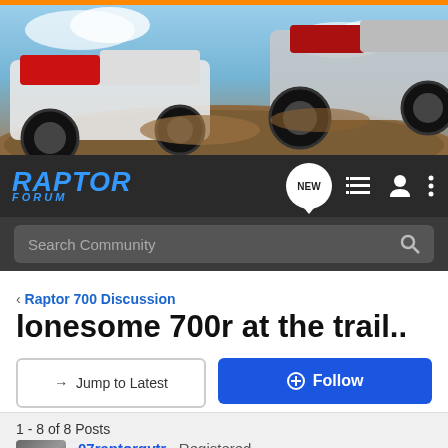[Figure (photo): Action photo of ATVs/quad bikes racing with dirt flying, sky in background]
[Figure (logo): Raptor Forum logo in blue italic text with navigation icons including NEW bubble, list icon, user icon, and menu dots]
Search Community
< Raptor 700 Discussion
lonesome 700r at the trail..
→ Jump to Latest
+ Follow
1 - 8 of 8 Posts
07raptorgytr · Registered
Joined Oct 14, 2006 · 1,346 Posts